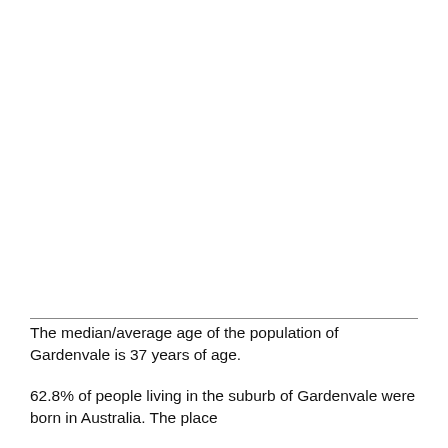The median/average age of the population of Gardenvale is 37 years of age.
62.8% of people living in the suburb of Gardenvale were born in Australia. The place ...